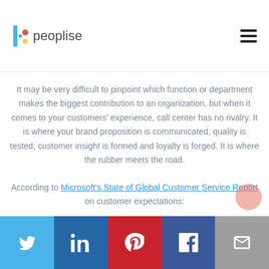peoplise
It may be very difficult to pinpoint which function or department makes the biggest contribution to an organization, but when it comes to your customers' experience, call center has no rivalry. It is where your brand proposition is communicated, quality is tested, customer insight is formed and loyalty is forged. It is where the rubber meets the road.
According to Microsoft's State of Global Customer Service Report on customer expectations:
Social share bar: Twitter, LinkedIn, Pinterest, Facebook, Email